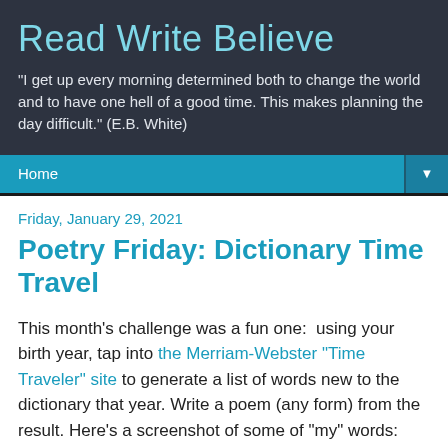Read Write Believe
"I get up every morning determined both to change the world and to have one hell of a good time. This makes planning the day difficult." (E.B. White)
Home
Friday, January 29, 2021
Poetry Friday: Dictionary Time Travel
This month's challenge was a fun one:  using your birth year, tap into the Merriam-Webster "Time Traveler" site to generate a list of words new to the dictionary that year. Write a poem (any form) from the result. Here's a screenshot of some of "my" words: